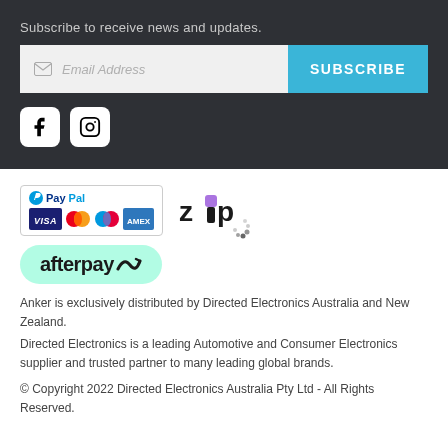Subscribe to receive news and updates.
[Figure (screenshot): Email subscription form with email address input field and blue SUBSCRIBE button]
[Figure (illustration): Social media icons: Facebook and Instagram rounded square buttons]
[Figure (logo): Payment method logos: PayPal, Visa, Mastercard, Maestro, American Express, Zip, Afterpay]
Anker is exclusively distributed by Directed Electronics Australia and New Zealand.
Directed Electronics is a leading Automotive and Consumer Electronics supplier and trusted partner to many leading global brands.
© Copyright 2022 Directed Electronics Australia Pty Ltd - All Rights Reserved.